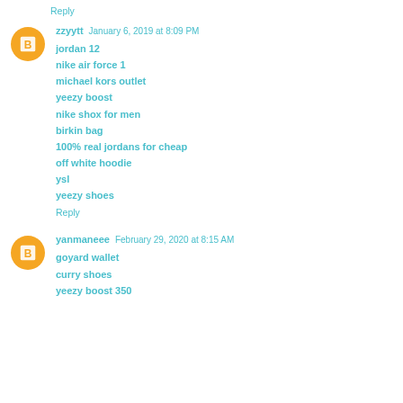Reply
zzyytt  January 6, 2019 at 8:09 PM
jordan 12
nike air force 1
michael kors outlet
yeezy boost
nike shox for men
birkin bag
100% real jordans for cheap
off white hoodie
ysl
yeezy shoes
Reply
yanmaneee  February 29, 2020 at 8:15 AM
goyard wallet
curry shoes
yeezy boost 350